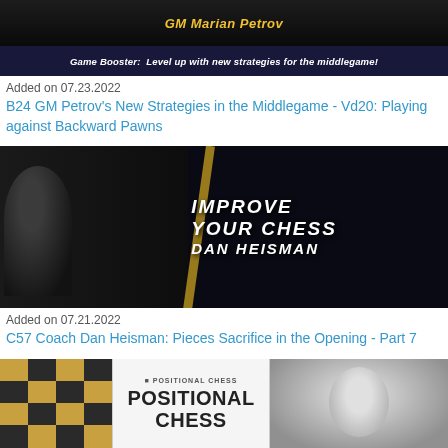[Figure (screenshot): GM Marian Petrov course thumbnail with dark background, gold text name, and subtitle about Game Booster strategies for the middlegame]
Added on 07.23.2022
B24 GM Petrov's New Strategies in the Middlegame - Vd20: Playing against Backward Pawns
[Figure (screenshot): Dan Heisman Improve Your Chess course thumbnail with dark background, white distressed text reading IMPROVE YOUR CHESS DAN HEISMAN, with a diagonal gold cross/bar overlay]
Added on 07.21.2022
C57 Coach Dan Heisman: Pieces Sacrifice in the Opening - Part 7
[Figure (screenshot): Positional Chess course thumbnail showing a chessboard on the left, center panel with POSITIONAL CHESS text, and an instructor photo on the right]